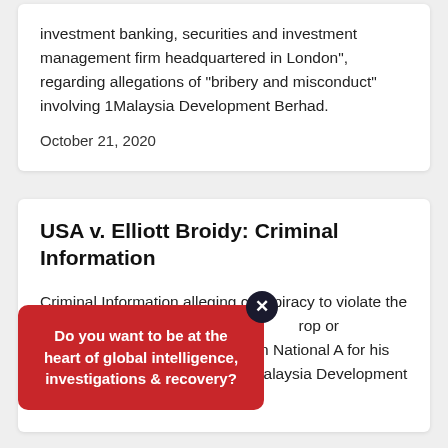investment banking, securities and investment management firm headquartered in London", regarding allegations of "bribery and misconduct" involving 1Malaysia Development Berhad.
October 21, 2020
USA v. Elliott Broidy: Criminal Information
Criminal Information alleging conspiracy to violate the [Foreign Agents Registration] Act regarding lobbying [efforts to drop or otherwise favorably resolve] [against] Foreign National A for his [alleged theft] of billions of dollars from 1 Malaysia Development Berhad" and, separately, "to
Do you want to be at the heart of global intelligence, investigations & recovery?